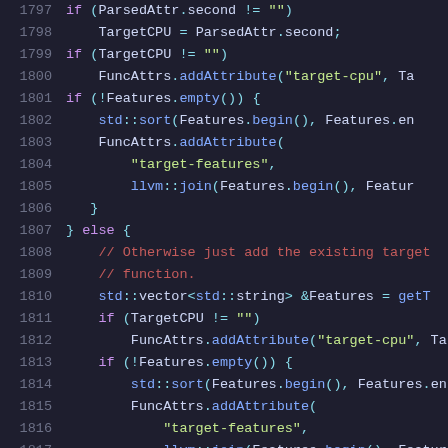Code listing lines 1797-1818, C++ source code showing conditional logic for CPU target and feature attributes